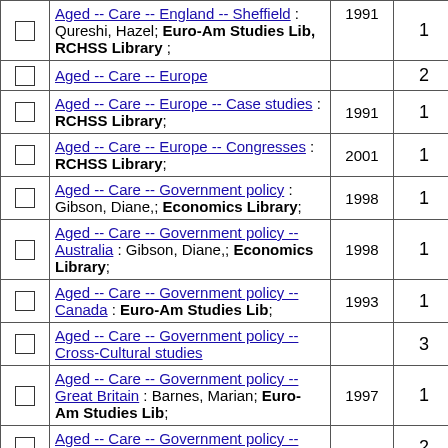|  | Description | Year | Count |
| --- | --- | --- | --- |
| ☐ | Aged -- Care -- England -- Sheffield : Qureshi, Hazel; Euro-Am Studies Lib, RCHSS Library ; | 1991 | 1 |
| ☐ | Aged -- Care -- Europe |  | 2 |
| ☐ | Aged -- Care -- Europe -- Case studies : RCHSS Library; | 1991 | 1 |
| ☐ | Aged -- Care -- Europe -- Congresses : RCHSS Library; | 2001 | 1 |
| ☐ | Aged -- Care -- Government policy : Gibson, Diane,; Economics Library; | 1998 | 1 |
| ☐ | Aged -- Care -- Government policy -- Australia : Gibson, Diane,; Economics Library; | 1998 | 1 |
| ☐ | Aged -- Care -- Government policy -- Canada : Euro-Am Studies Lib; | 1993 | 1 |
| ☐ | Aged -- Care -- Government policy -- Cross-Cultural studies |  | 3 |
| ☐ | Aged -- Care -- Government policy -- Great Britain : Barnes, Marian; Euro-Am Studies Lib; | 1997 | 1 |
| ☐ | Aged -- Care -- Government policy -- United States |  | 2 |
| ☐ | Aged -- Care -- Great Britain |  | 4 |